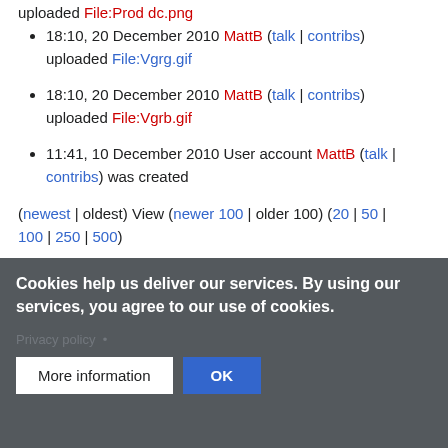18:10, 20 December 2010 MattB (talk | contribs) uploaded File:Vgrg.gif
18:10, 20 December 2010 MattB (talk | contribs) uploaded File:Vgrb.gif
11:41, 10 December 2010 User account MattB (talk | contribs) was created
(newest | oldest) View (newer 100 | older 100) (20 | 50 | 100 | 250 | 500)
Cookies help us deliver our services. By using our services, you agree to our use of cookies.
Privacy policy • More information OK